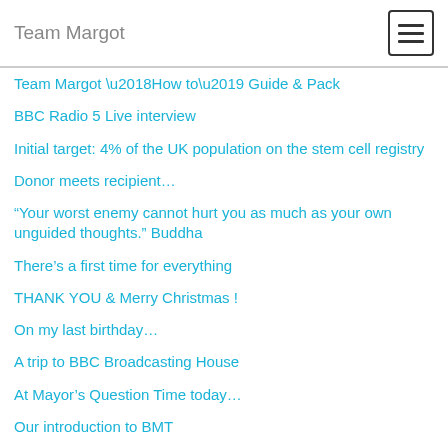Team Margot
Team Margot ‘How to’ Guide & Pack
BBC Radio 5 Live interview
Initial target: 4% of the UK population on the stem cell registry
Donor meets recipient…
“Your worst enemy cannot hurt you as much as your own unguided thoughts.” Buddha
There’s a first time for everything
THANK YOU & Merry Christmas !
On my last birthday…
A trip to BBC Broadcasting House
At Mayor’s Question Time today…
Our introduction to BMT
Tissue typing: a dark art
Our “emotional & sanity insurance policy”